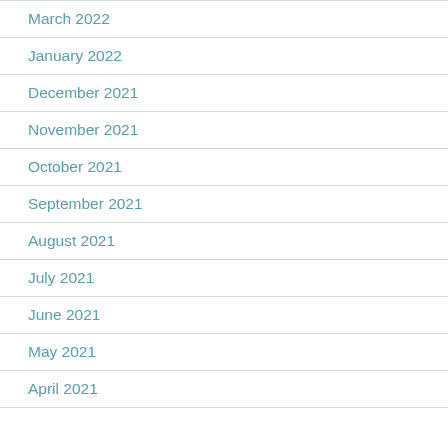March 2022
January 2022
December 2021
November 2021
October 2021
September 2021
August 2021
July 2021
June 2021
May 2021
April 2021